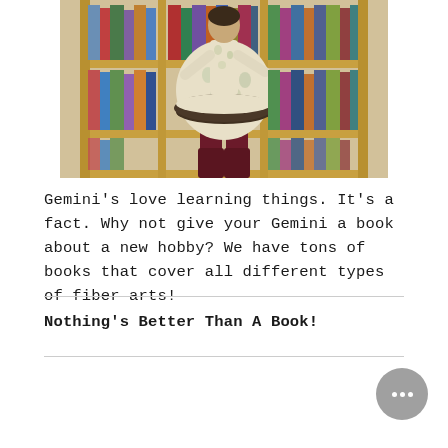[Figure (photo): A person wearing a floral skirt and dark leggings/boots standing in front of a library bookshelf filled with books.]
Gemini's love learning things. It's a fact. Why not give your Gemini a book about a new hobby? We have tons of books that cover all different types of fiber arts!
Nothing's Better Than A Book!